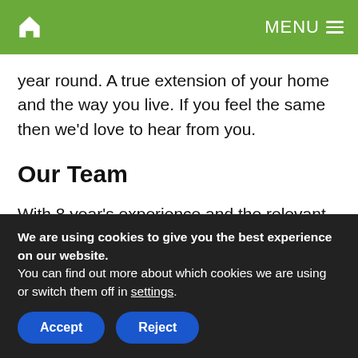Home | MENU
year round. A true extension of your home and the way you live. If you feel the same then we'd love to hear from you.
Our Team
With 8 year's experience and the relevant qualifications to back it up, the Papillon Team are a hard-working, professional and
We are using cookies to give you the best experience on our website.
You can find out more about which cookies we are using or switch them off in settings.
Accept
Reject